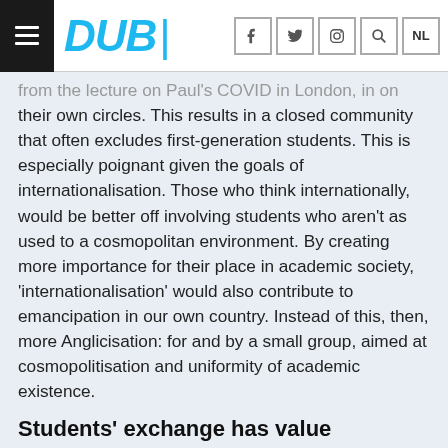DUB
from the lecture on Paul's COVID in London, in on their own circles. This results in a closed community that often excludes first-generation students. This is especially poignant given the goals of internationalisation. Those who think internationally, would be better off involving students who aren't as used to a cosmopolitan environment. By creating more importance for their place in academic society, 'internationalisation' would also contribute to emancipation in our own country. Instead of this, then, more Anglicisation: for and by a small group, aimed at cosmopolitisation and uniformity of academic existence.
Students' exchange has value